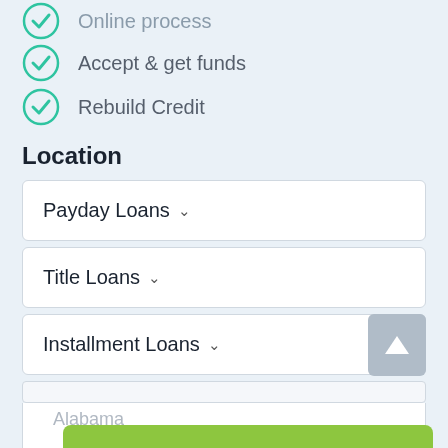Online process
Accept & get funds
Rebuild Credit
Location
Payday Loans
Title Loans
Installment Loans
Alabama
[Figure (other): Green Apply Now button overlay]
Alaska
Applying does NOT affect your credit score!
No credit check to apply.